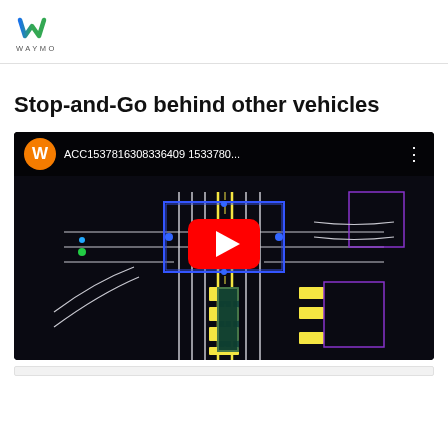WAYMO
Stop-and-Go behind other vehicles
[Figure (screenshot): YouTube video thumbnail showing a Waymo autonomous vehicle simulation/visualization with a dark background. The video is titled 'ACC1537816308336409 1533780...' and shows a top-down view of an intersection with road markings in blue, yellow, and white lines on a black background. A red YouTube play button is centered on the video.]